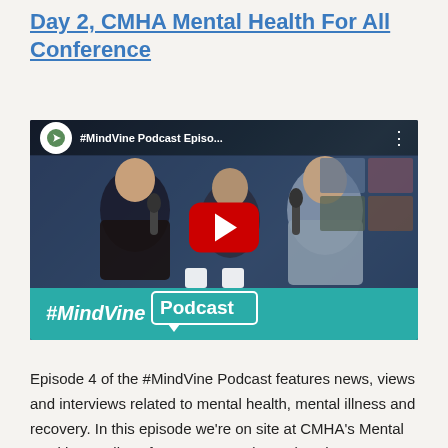Day 2, CMHA Mental Health For All Conference
[Figure (screenshot): YouTube video thumbnail for #MindVine Podcast Episode featuring two people being interviewed at a podcast setup with microphones, with the #MindVine Podcast branding bar at the bottom in teal.]
Episode 4 of the #MindVine Podcast features news, views and interviews related to mental health, mental illness and recovery. In this episode we're on site at CMHA's Mental Health For All conference. Day 2 (Part 2) at the